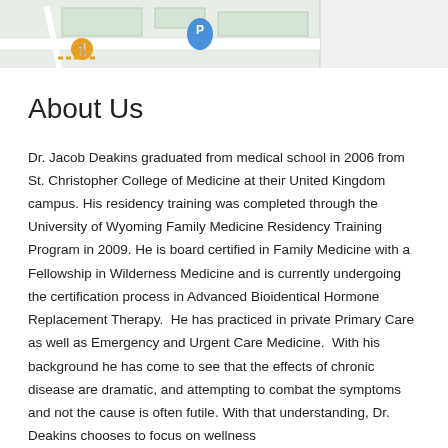[Figure (map): A partial map view showing streets and a parking pin marker (P) and a food/restaurant icon]
About Us
Dr. Jacob Deakins graduated from medical school in 2006 from St. Christopher College of Medicine at their United Kingdom campus. His residency training was completed through the University of Wyoming Family Medicine Residency Training Program in 2009. He is board certified in Family Medicine with a Fellowship in Wilderness Medicine and is currently undergoing the certification process in Advanced Bioidentical Hormone Replacement Therapy.  He has practiced in private Primary Care as well as Emergency and Urgent Care Medicine.  With his background he has come to see that the effects of chronic disease are dramatic, and attempting to combat the symptoms and not the cause is often futile. With that understanding, Dr. Deakins chooses to focus on wellness